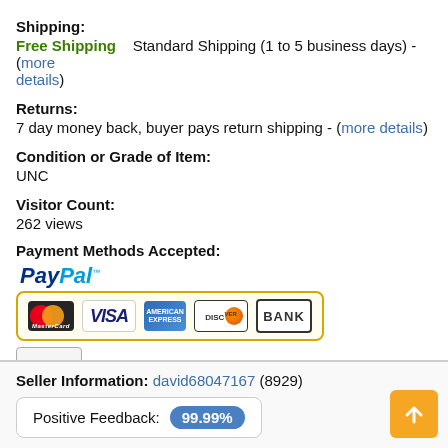Shipping:
Free Shipping    Standard Shipping (1 to 5 business days) - (more details)
Returns:
7 day money back, buyer pays return shipping - (more details)
Condition or Grade of Item:
UNC
Visitor Count:
262 views
Payment Methods Accepted:
[Figure (logo): PayPal logo with payment card icons (MasterCard, VISA, American Express, Discover, Bank) in a yellow-bordered box, and a Check or Money Order option below]
Seller Information: david68047167 (8929)
Positive Feedback: 99.99%